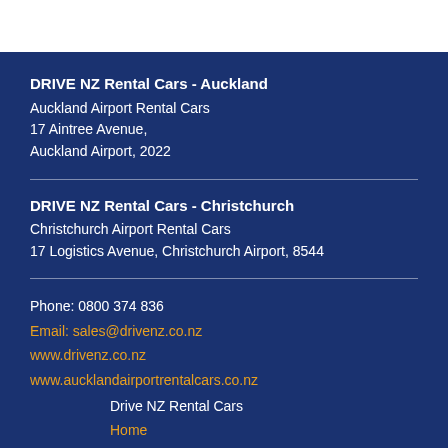DRIVE NZ Rental Cars - Auckland
Auckland Airport Rental Cars
17 Aintree Avenue,
Auckland Airport, 2022
DRIVE NZ Rental Cars - Christchurch
Christchurch Airport Rental Cars
17 Logistics Avenue, Christchurch Airport, 8544
Phone: 0800 374 836
Email: sales@drivenz.co.nz
www.drivenz.co.nz
www.aucklandairportrentalcars.co.nz
Drive NZ Rental Cars
Home
Rental Cars